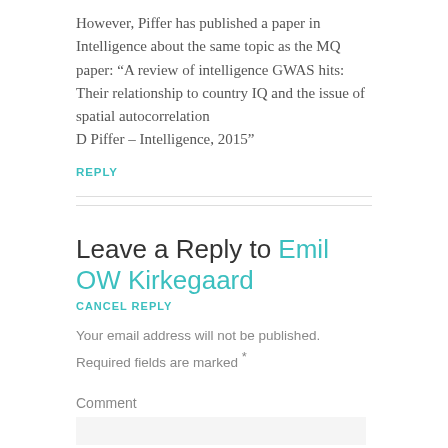However, Piffer has published a paper in Intelligence about the same topic as the MQ paper: “A review of intelligence GWAS hits: Their relationship to country IQ and the issue of spatial autocorrelation D Piffer – Intelligence, 2015”
REPLY
Leave a Reply to Emil OW Kirkegaard
CANCEL REPLY
Your email address will not be published. Required fields are marked *
Comment